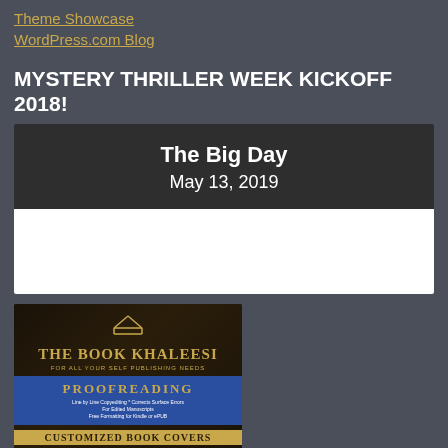Theme Showcase
WordPress.com Blog
MYSTERY THRILLER WEEK KICKOFF 2018!
[Figure (infographic): Dark banner with 'The Big Day' in bold white and 'May 13, 2019' beneath it, on a dark gray background, followed by a white panel below]
[Figure (illustration): The Book Khaleesi advertisement banner showing logo with open book icon, proofreading services banner in blue, customized book covers section in gold, and a row of book cover thumbnails]